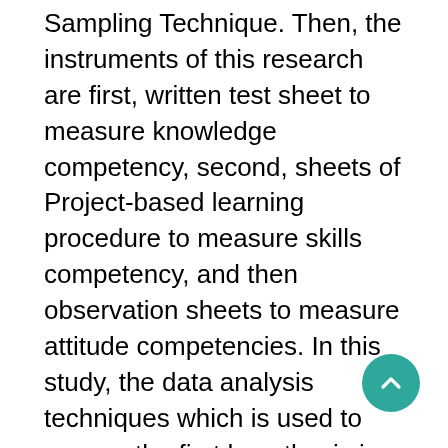Sampling Technique. Then, the instruments of this research are first, written test sheet to measure knowledge competency, second, sheets of Project-based learning procedure to measure skills competency, and then observation sheets to measure attitude competencies. In this study, the data analysis techniques which is used to answer the first hypothesis is a correlated t-test and in order to answer the second hypothesis, it uses t-test (two similarity test averages).Based on research, 1) It turns out the effectiveness of digital learning materials has a coefficient of r between pretest and posttest of 0.81, and there is significant difference between the results of learning after and before use digital learning materials, so that digital learning materials effective in learning with a confidence level of 95%. 2)There is a significant influence on the use of digital learning materials on students' competence in attitude, knowledge and skills. There is a general increase in